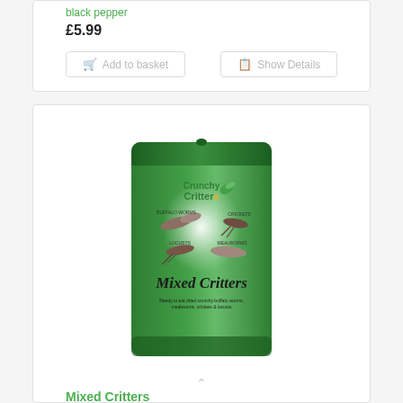black pepper
£5.99
Add to basket
Show Details
[Figure (photo): Green resealable pouch bag labelled 'Crunchy Critters Mixed Critters' with images of buffalo worms, mealworms, crickets and locusts on the front. Tagline reads: Ready to eat dried crunchy buffalo worms, mealworms, crickets & locusts.]
Mixed Critters